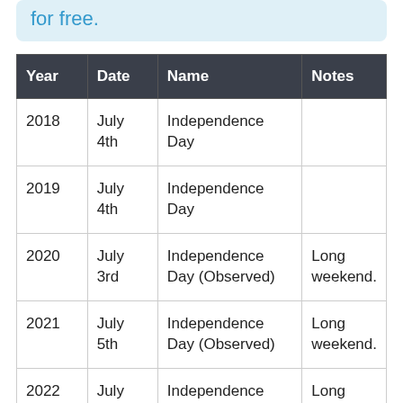for free.
| Year | Date | Name | Notes |
| --- | --- | --- | --- |
| 2018 | July 4th | Independence Day |  |
| 2019 | July 4th | Independence Day |  |
| 2020 | July 3rd | Independence Day (Observed) | Long weekend. |
| 2021 | July 5th | Independence Day (Observed) | Long weekend. |
| 2022 | July | Independence | Long |